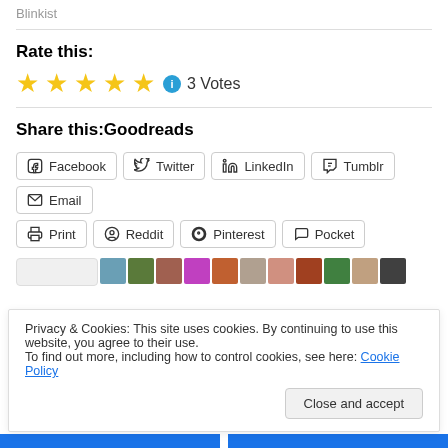Blinkist
Rate this:
★★★★★ ℹ 3 Votes
Share this:Goodreads
Facebook  Twitter  LinkedIn  Tumblr  Email  Print  Reddit  Pinterest  Pocket
Privacy & Cookies: This site uses cookies. By continuing to use this website, you agree to their use.
To find out more, including how to control cookies, see here: Cookie Policy